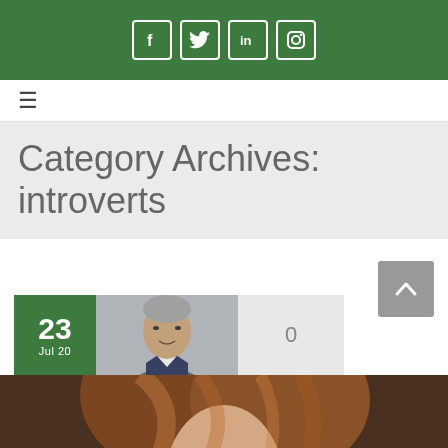Social media icons: Facebook, Twitter, LinkedIn, Instagram
≡ (hamburger menu)
Category Archives: introverts
[Figure (other): Back to top button with upward chevron arrow, dark gray background]
[Figure (photo): Date badge showing '23 Jul 20' in green box, headshot photo of middle-aged man in suit next to it, comment count '0' in gray box]
[Figure (photo): Partial large photo of a woman with auburn hair, cropped at bottom of page]